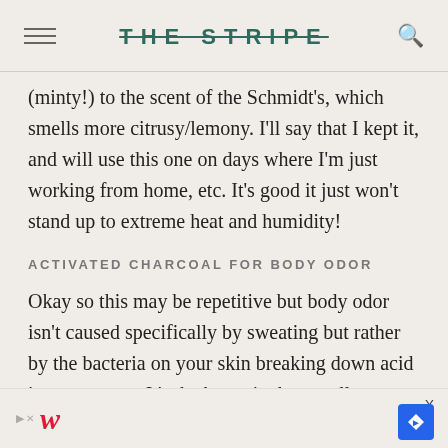THE STRIPE
(minty!) to the scent of the Schmidt's, which smells more citrusy/lemony. I'll say that I kept it, and will use this one on days where I'm just working from home, etc. It's good it just won't stand up to extreme heat and humidity!
ACTIVATED CHARCOAL FOR BODY ODOR
Okay so this may be repetitive but body odor isn't caused specifically by sweating but rather by the bacteria on your skin breaking down acid in your sweat. It's the bacteria that smells – not your sweat, if that makes any sense. Charcoal is highly porous and
[Figure (infographic): Walgreens advertisement banner at bottom of page with red cursive W logo, play/close button, and blue navigation icon]